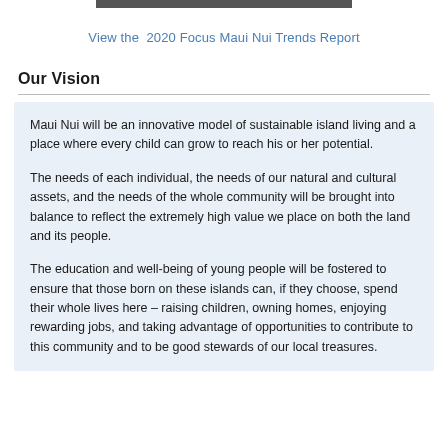[Figure (photo): Strip of photographs at the top of the page]
View the  2020 Focus Maui Nui Trends Report
Our Vision
Maui Nui will be an innovative model of sustainable island living and a place where every child can grow to reach his or her potential.

The needs of each individual, the needs of our natural and cultural assets, and the needs of the whole community will be brought into balance to reflect the extremely high value we place on both the land and its people.

The education and well-being of young people will be fostered to ensure that those born on these islands can, if they choose, spend their whole lives here – raising children, owning homes, enjoying rewarding jobs, and taking advantage of opportunities to contribute to this community and to be good stewards of our local treasures.